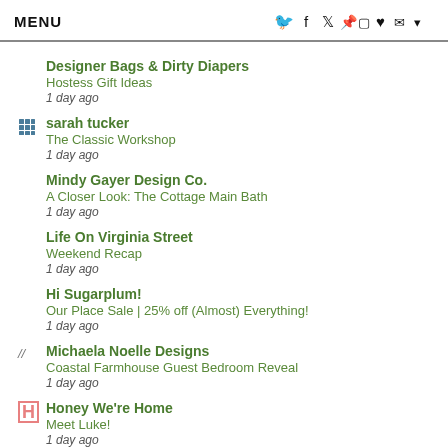MENU
Designer Bags & Dirty Diapers
Hostess Gift Ideas
1 day ago
sarah tucker
The Classic Workshop
1 day ago
Mindy Gayer Design Co.
A Closer Look: The Cottage Main Bath
1 day ago
Life On Virginia Street
Weekend Recap
1 day ago
Hi Sugarplum!
Our Place Sale | 25% off (Almost) Everything!
1 day ago
Michaela Noelle Designs
Coastal Farmhouse Guest Bedroom Reveal
1 day ago
Honey We're Home
Meet Luke!
1 day ago